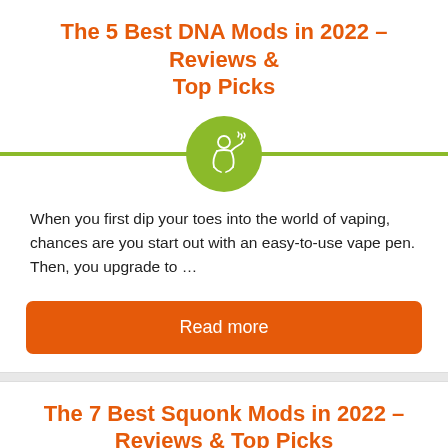The 5 Best DNA Mods in 2022 – Reviews & Top Picks
[Figure (illustration): Green circle with white line-art icon of a person vaping, centered on a green horizontal divider line]
When you first dip your toes into the world of vaping, chances are you start out with an easy-to-use vape pen. Then, you upgrade to …
Read more
The 7 Best Squonk Mods in 2022 – Reviews & Top Picks
[Figure (illustration): Green circle with white line-art icon of a person vaping, centered on a green horizontal divider line]